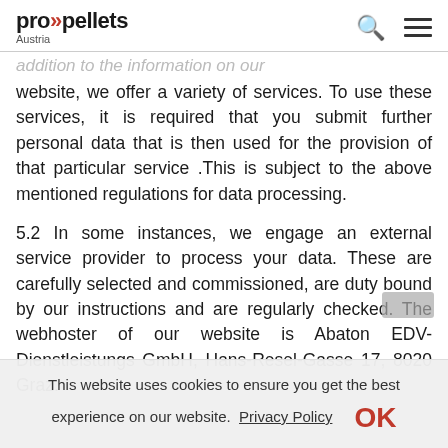pro»pellets Austria
website, we offer a variety of services. To use these services, it is required that you submit further personal data that is then used for the provision of that particular service .This is subject to the above mentioned regulations for data processing.
5.2 In some instances, we engage an external service provider to process your data. These are carefully selected and commissioned, are duty bound by our instructions and are regularly checked. The webhoster of our website is Abaton EDV-Dienstleistungs GmbH, Hans-Resel-Gasse 17, 8020 Graz.
This website uses cookies to ensure you get the best experience on our website. Privacy Policy OK